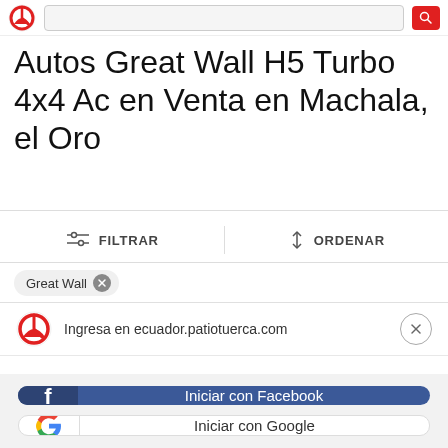[Figure (screenshot): Top navigation bar with red logo, search input, and red search button]
Autos Great Wall H5 Turbo 4x4 Ac en Venta en Machala, el Oro
FILTRAR  |  ORDENAR
Great Wall ×
[Figure (screenshot): Login popup banner showing Patio Tuerca logo and URL ecuador.patiotuerca.com with close button]
Ingresa en ecuador.patiotuerca.com
Iniciar con Facebook
Iniciar con Google